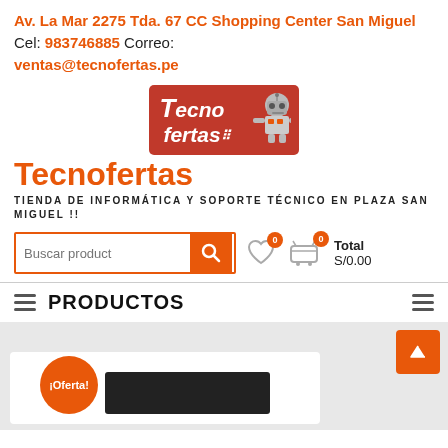Av. La Mar 2275 Tda. 67 CC Shopping Center San Miguel Cel: 983746885 Correo: ventas@tecnofertas.pe
[Figure (logo): Tecnofertas logo with red background and robot graphic]
Tecnofertas
TIENDA DE INFORMÁTICA Y SOPORTE TÉCNICO EN PLAZA SAN MIGUEL !!
Buscar producto | Total S/0.00
PRODUCTOS
[Figure (screenshot): Product listing section with Oferta badge and product image]
¡Oferta!